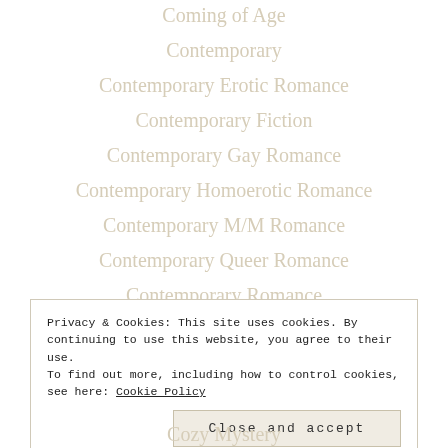Coming of Age
Contemporary
Contemporary Erotic Romance
Contemporary Fiction
Contemporary Gay Romance
Contemporary Homoerotic Romance
Contemporary M/M Romance
Contemporary Queer Romance
Contemporary Romance
Privacy & Cookies: This site uses cookies. By continuing to use this website, you agree to their use.
To find out more, including how to control cookies, see here: Cookie Policy
Cozy Mystery